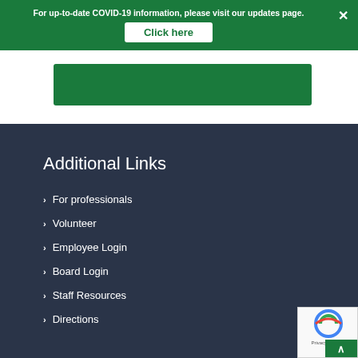For up-to-date COVID-19 information, please visit our updates page.
Click here
Additional Links
For professionals
Volunteer
Employee Login
Board Login
Staff Resources
Directions